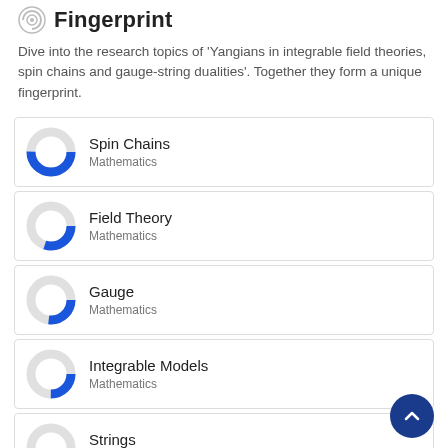Fingerprint
Dive into the research topics of 'Yangians in integrable field theories, spin chains and gauge-string dualities'. Together they form a unique fingerprint.
[Figure (donut-chart): Donut chart for Spin Chains, Mathematics, approximately 75% filled blue]
Spin Chains
Mathematics
[Figure (donut-chart): Donut chart for Field Theory, Mathematics, approximately 55% filled blue]
Field Theory
Mathematics
[Figure (donut-chart): Donut chart for Gauge, Mathematics, approximately 52% filled blue]
Gauge
Mathematics
[Figure (donut-chart): Donut chart for Integrable Models, Mathematics, approximately 50% filled blue]
Integrable Models
Mathematics
[Figure (donut-chart): Donut chart for Strings, Physics & Astronomy, approximately 48% filled blue]
Strings
Physics & Astronomy